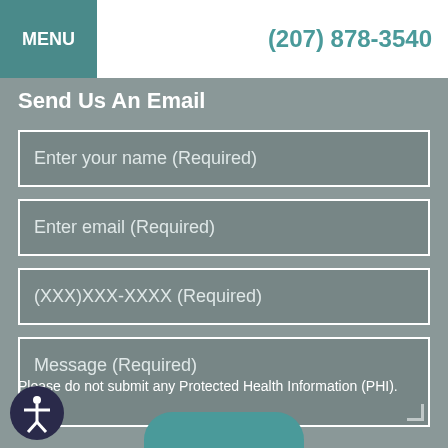MENU  (207) 878-3540
Send Us An Email
Enter your name (Required)
Enter email (Required)
(XXX)XXX-XXXX (Required)
Message (Required)
Please do not submit any Protected Health Information (PHI).